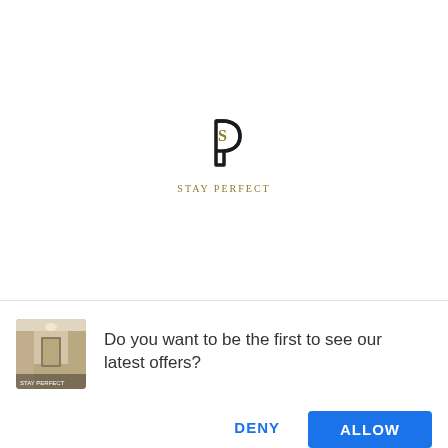[Figure (logo): Stay Perfect logo: a stylized P shape with an S letter inside, black icon above gold 'STAY PERFECT' text]
Do you want to be the first to see our latest offers?
[Figure (photo): Small thumbnail photo of a hotel corridor or room interior]
DENY
ALLOW